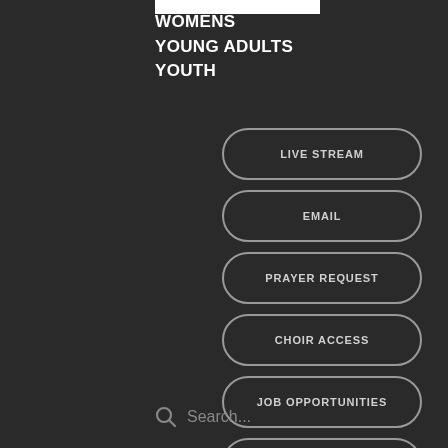WOMENS
YOUNG ADULTS
YOUTH
LIVE STREAM
EMAIL
PRAYER REQUEST
CHOIR ACCESS
JOB OPPORTUNITIES
RIGHTNOW MEDIA
Search...